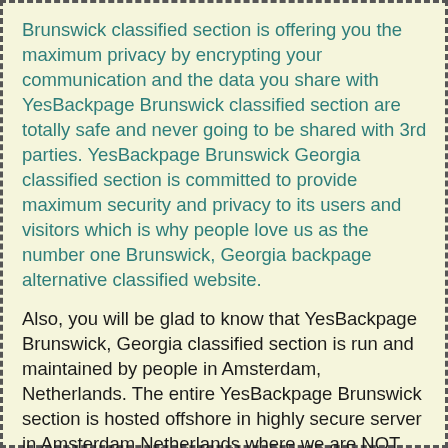Brunswick classified section is offering you the maximum privacy by encrypting your communication and the data you share with YesBackpage Brunswick classified section are totally safe and never going to be shared with 3rd parties. YesBackpage Brunswick Georgia classified section is committed to provide maximum security and privacy to its users and visitors which is why people love us as the number one Brunswick, Georgia backpage alternative classified website.
Also, you will be glad to know that YesBackpage Brunswick, Georgia classified section is run and maintained by people in Amsterdam, Netherlands. The entire YesBackpage Brunswick section is hosted offshore in highly secure server in Amsterdam Netherlands where we are NOT bound by United States and SESTA/FOSTA doesn't apply for YesBackpage Brunswick classified section. That